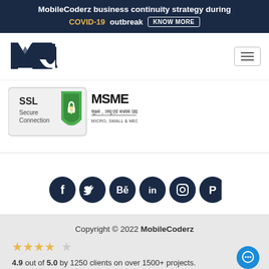MobileCoderz business continuity strategy during COVID-19 outbreak KNOW MORE
[Figure (logo): MobileCoderz logo - stylized MC letters in dark navy]
[Figure (illustration): SSL Secure Connection badge with green shield and MSME Micro Small Medium Enterprises logo]
[Figure (infographic): Social media icons row: Facebook, Twitter, Behance, LinkedIn, Instagram, Pinterest - all dark navy circles]
Copyright © 2022 MobileCoderz 4.9 out of 5.0 by 1250 clients on over 1500+ projects.